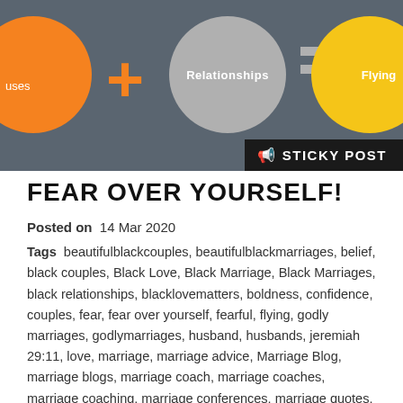[Figure (illustration): Banner image showing orange circles, gray circle with 'Relationships' text, plus sign in orange, equals sign in gray, yellow circle with 'Flying' text, dark background. Black overlay bar with megaphone icon and 'STICKY POST' label.]
FEAR OVER YOURSELF!
Posted on  14 Mar 2020
Tags  beautifulblackcouples, beautifulblackmarriages, belief, black couples, Black Love, Black Marriage, Black Marriages, black relationships, blacklovematters, boldness, confidence, couples, fear, fear over yourself, fearful, flying, godly marriages, godlymarriages, husband, husbands, jeremiah 29:11, love, marriage, marriage advice, Marriage Blog, marriage blogs, marriage coach, marriage coaches, marriage coaching, marriage conferences, marriage quotes, marriage4life, marriage4lifeinstitute, marriageblog, marriagegoals, marriages, prevail, relationship blogs, relationships